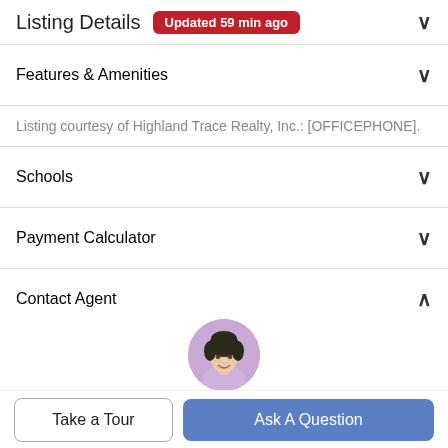Listing Details Updated 59 min ago
Features & Amenities
Listing courtesy of Highland Trace Realty, Inc.: [OFFICEPHONE].
Schools
Payment Calculator
Contact Agent
[Figure (photo): Circular headshot photo of a female real estate agent]
Take a Tour
Ask A Question